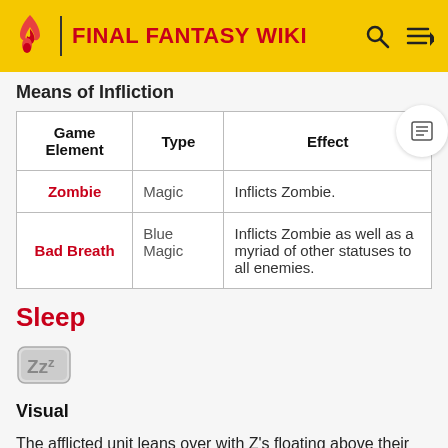FINAL FANTASY WIKI
Means of Infliction
| Game Element | Type | Effect |
| --- | --- | --- |
| Zombie | Magic | Inflicts Zombie. |
| Bad Breath | Blue Magic | Inflicts Zombie as well as a myriad of other statuses to all enemies. |
Sleep
[Figure (illustration): ZZ icon representing the Sleep status effect]
Visual
The afflicted unit leans over with Z's floating above their